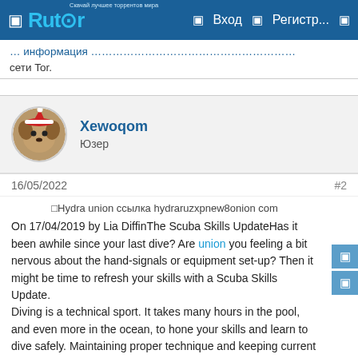Rutor — Вход — Регистр...
информация находится в сети Tor.
Xewoqom
Юзер
16/05/2022	#2
[Figure (other): Hydra union ссылка hydraruzxpnew8onion com — broken image placeholder]
On 17/04/2019 by Lia DiffinThe Scuba Skills UpdateHas it been awhile since your last dive? Are union you feeling a bit nervous about the hand-signals or equipment set-up? Then it might be time to refresh your skills with a Scuba Skills Update.
Diving is a technical sport. It takes many hours in the pool, and even more in the ocean, to hone your skills and learn to dive safely. Maintaining proper technique and keeping current with guidelines requires further time in and out of the water.